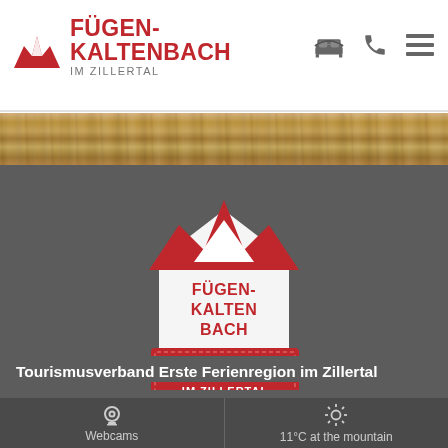FÜGEN-KALTENBACH IM ZILLERTAL
[Figure (illustration): Fügen-Kaltenbach tourism website screenshot showing logo, navigation icons (accommodation, phone, menu), wooden texture banner, grey background with a map pin graphic shaped like a house with red mountain peaks and text FÜGEN KALTEN BACH, and a red ribbon tag reading DIE ERSTE FERIENREGION IM ZILLERTAL]
Tourismusverband Erste Ferienregion im Zillertal
Webcams
11°C at the mountain